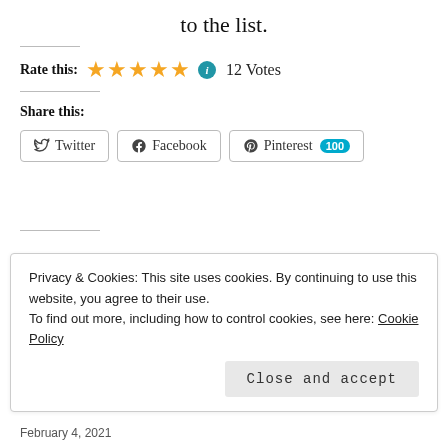to the list.
Rate this: ★★★★★ ℹ 12 Votes
Share this:
Twitter  Facebook  Pinterest 100
Privacy & Cookies: This site uses cookies. By continuing to use this website, you agree to their use.
To find out more, including how to control cookies, see here: Cookie Policy
Close and accept
February 4, 2021